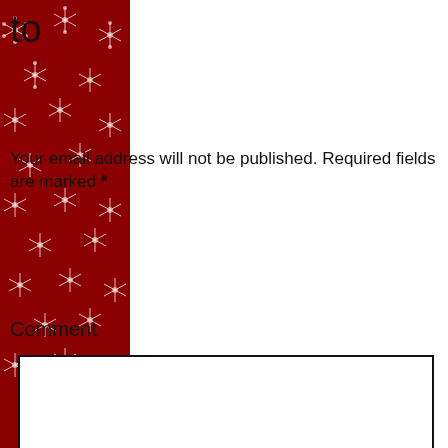to
Your email address will not be published. Required fields are marked *
Comment
[Figure (other): Comment text area input box (empty, white, with border and resize handle)]
Name *
[Figure (other): Name text input box (empty, white, with border)]
[Figure (other): Additional text input box (empty, partially visible at bottom)]